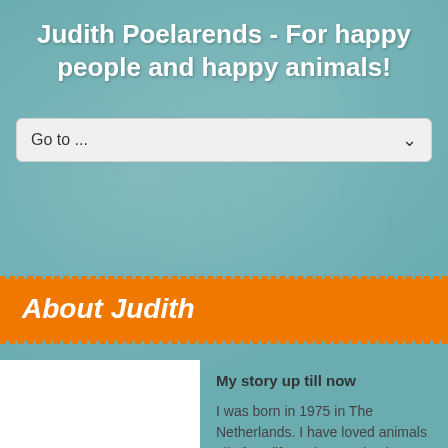Judith Poelarends - For happy people and happy animals!
[Figure (screenshot): Navigation dropdown menu with 'Go to ...' placeholder and dropdown arrow]
About Judith
My story up till now
I was born in 1975 in The Netherlands. I have loved animals all of my life and wanted to be a veterinarian since I was a little child.
After graduating from high school I was accepted at the University of Veterinary Medicine. However, I became